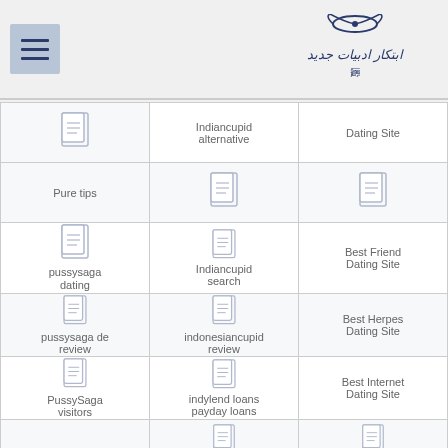Menu icon and logo
| Col1 | Col2 | Col3 |
| --- | --- | --- |
| [icon] | Indiancupid alternative | Dating Site |
| Pure tips | [icon] | [icon] |
| [icon] | Indiancupid search | Best Friend Dating Site |
| pussysaga dating | [icon] | [icon] |
| [icon] | indonesiancupid review | Best Herpes Dating Site |
| pussysaga de review | [icon] | [icon] |
| [icon] | indylend loans payday loans | Best Internet Dating Site |
| PussySaga visitors | [icon] | [icon] |